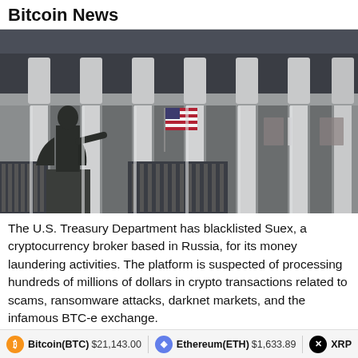Bitcoin News
[Figure (photo): Photo of the U.S. Treasury Department building with large columns, an American flag hanging between the columns, and a bronze statue of a historical figure in the foreground]
The U.S. Treasury Department has blacklisted Suex, a cryptocurrency broker based in Russia, for its money laundering activities. The platform is suspected of processing hundreds of millions of dollars in crypto transactions related to scams, ransomware attacks, darknet markets, and the infamous BTC-e exchange.
Bitcoin(BTC) $21,143.00   Ethereum(ETH) $1,633.89   XRP